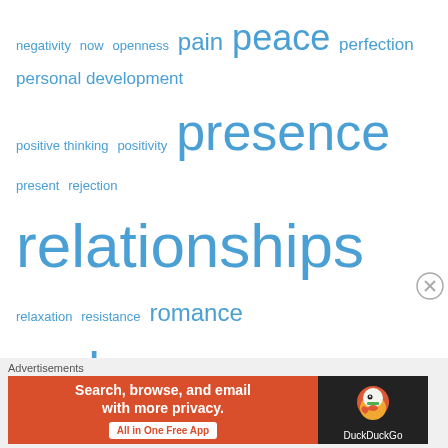[Figure (other): Tag cloud / word cloud with blog topic tags in varying sizes of blue text: negativity, now, openness, pain, peace, perfection, personal development, positive thinking, positivity, presence, present, rejection, relationships, relaxation, resistance, romance, sadness, self-acceptance, self-esteem, self-love, soul, spirituality, thinking, thoughts, understanding, universe, work, worry, writing]
Blog Stats
238,695 hits
Meta
[Figure (other): DuckDuckGo advertisement banner: 'Search, browse, and email with more privacy. All in One Free App' with DuckDuckGo logo on dark background]